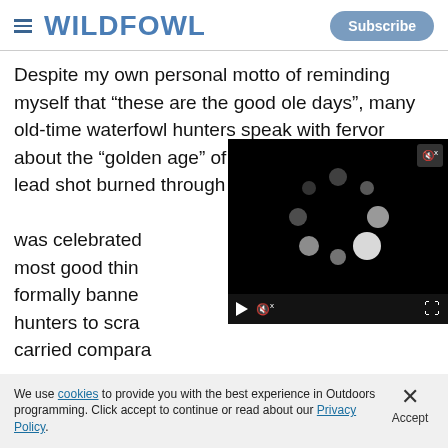WILDFOWL | Subscribe
Despite my own personal motto of reminding myself that “these are the good ole days”, many old-time waterfowl hunters speak with fervor about the “golden age” of waterfowl hunting when lead shot burned through the barrels and the limit was celebrated with fanfare. Like most good things, lead shot was formally banned in 1991, forcing hunters to scramble for steel, which carried comparably poor...
[Figure (screenshot): Video player overlay with black background showing a loading spinner (white circles arranged in a circular pattern), mute icon in top right, and playback controls at bottom including play button, mute button, and fullscreen button.]
We use cookies to provide you with the best experience in Outdoors programming. Click accept to continue or read about our Privacy Policy.